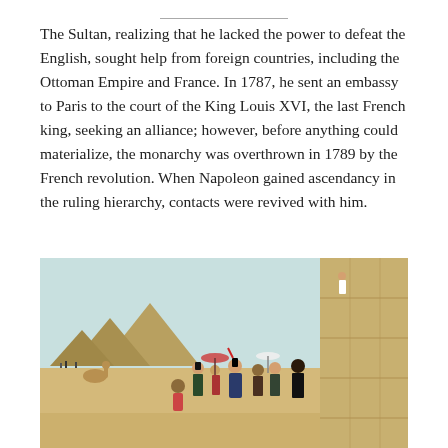The Sultan, realizing that he lacked the power to defeat the English, sought help from foreign countries, including the Ottoman Empire and France. In 1787, he sent an embassy to Paris to the court of the King Louis XVI, the last French king, seeking an alliance; however, before anything could materialize, the monarchy was overthrown in 1789 by the French revolution. When Napoleon gained ascendancy in the ruling hierarchy, contacts were revived with him.
[Figure (illustration): A historical illustration depicting Napoleon and a group of soldiers, dignitaries, and local figures gathered near the pyramids of Egypt. The scene shows military officers in Napoleonic-era uniforms alongside Egyptian and Middle Eastern figures, with pyramids and desert in the background and large stone walls on the right.]